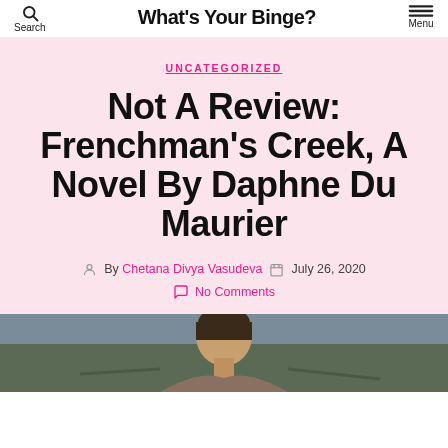What's Your Binge?
UNCATEGORIZED
Not A Review: Frenchman's Creek, A Novel By Daphne Du Maurier
By Chetana Divya Vasudeva   July 26, 2020
No Comments
[Figure (photo): A photo showing a person outdoors, partially cropped at the bottom of the page]